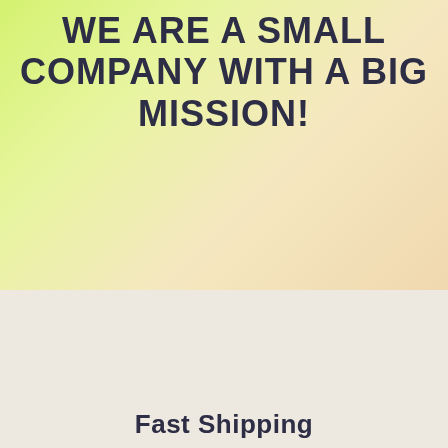WE ARE A SMALL COMPANY WITH A BIG MISSION!
[Figure (illustration): Line art icon of a delivery truck with a clock/checkmark circle overlaid on the front, indicating fast/on-time shipping. Black outline on light beige background.]
Fast Shipping